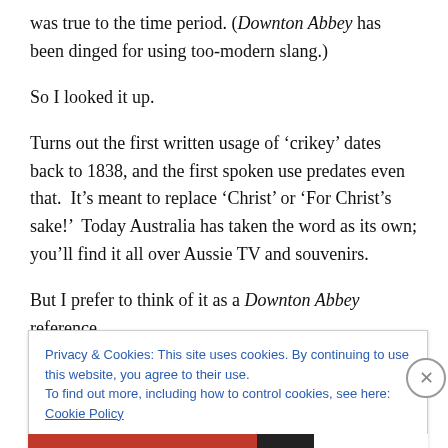was true to the time period. (Downton Abbey has been dinged for using too-modern slang.)
So I looked it up.
Turns out the first written usage of ‘crikey’ dates back to 1838, and the first spoken use predates even that.  It’s meant to replace ‘Christ’ or ‘For Christ’s sake!’  Today Australia has taken the word as its own; you’ll find it all over Aussie TV and souvenirs.
But I prefer to think of it as a Downton Abbey reference.
Privacy & Cookies: This site uses cookies. By continuing to use this website, you agree to their use.
To find out more, including how to control cookies, see here: Cookie Policy